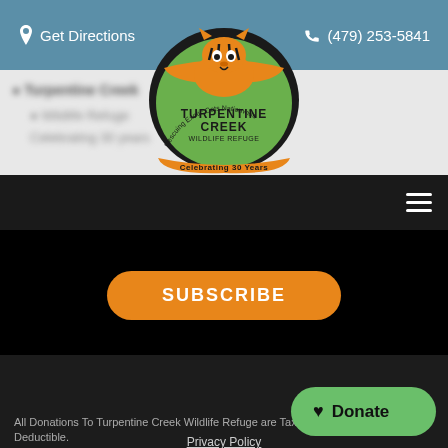Get Directions   (479) 253-5841
[Figure (logo): Turpentine Creek Wildlife Refuge logo — circular green badge with tiger illustration, text 'TURPENTINE CREEK WILDLIFE REFUGE Rescuing Exotic Cats Nationwide Celebrating 30 Years']
SUBSCRIBE
© 2022 Turpentine Creek Wildlife Refuge. All Rights Reserved. Web Design by Sharp Hue. All Donations To Turpentine Creek Wildlife Refuge are Tax Deductible. Privacy Policy